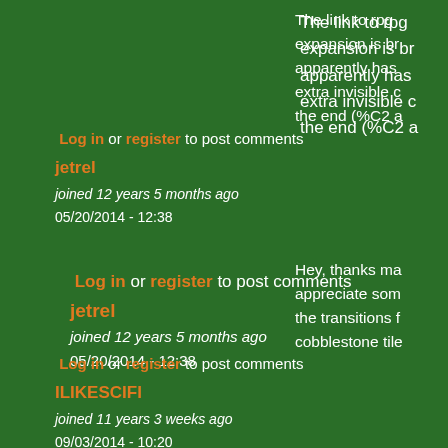The link to rpg expansion is br apparently has extra invisible c the end (%C2 a
Log in or register to post comments
jetrel
joined 12 years 5 months ago
05/20/2014 - 12:38
Hey, thanks ma appreciate som the transitions f cobblestone tile
Log in or register to post comments
ILIKESCIFI
joined 11 years 3 weeks ago
09/03/2014 - 10:20
Uuuu this is a c Includes one co actually:)